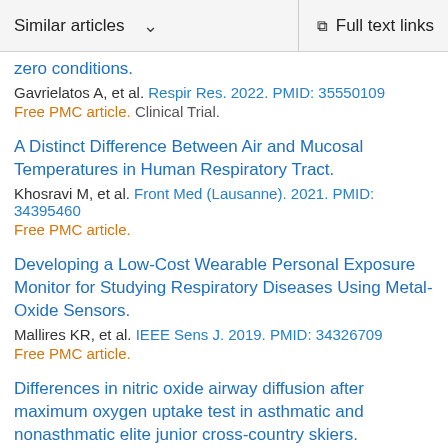Similar articles  ∨   Full text links
zero conditions.
Gavrielatos A, et al. Respir Res. 2022. PMID: 35550109 Free PMC article. Clinical Trial.
A Distinct Difference Between Air and Mucosal Temperatures in Human Respiratory Tract.
Khosravi M, et al. Front Med (Lausanne). 2021. PMID: 34395460 Free PMC article.
Developing a Low-Cost Wearable Personal Exposure Monitor for Studying Respiratory Diseases Using Metal-Oxide Sensors.
Mallires KR, et al. IEEE Sens J. 2019. PMID: 34326709 Free PMC article.
Differences in nitric oxide airway diffusion after maximum oxygen uptake test in asthmatic and nonasthmatic elite junior cross-country skiers.